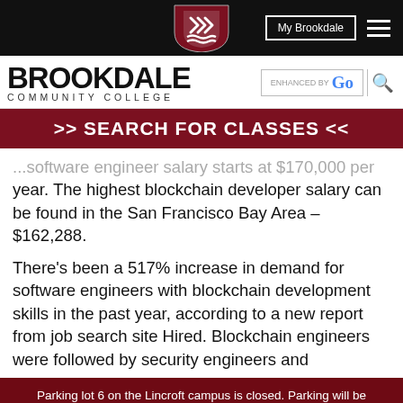My Brookdale [navigation]
[Figure (logo): Brookdale Community College shield logo in red and white]
BROOKDALE COMMUNITY COLLEGE
>> SEARCH FOR CLASSES <<
year. The highest blockchain developer salary can be found in the San Francisco Bay Area – $162,288.
There's been a 517% increase in demand for software engineers with blockchain development skills in the past year, according to a new report from job search site Hired. Blockchain engineers were followed by security engineers and
Parking lot 6 on the Lincroft campus is closed. Parking will be available in the North part of Lot 5 in addition to lots 1, 2, 3, 4, or 7. Coming to Campus: COVID-19 Information